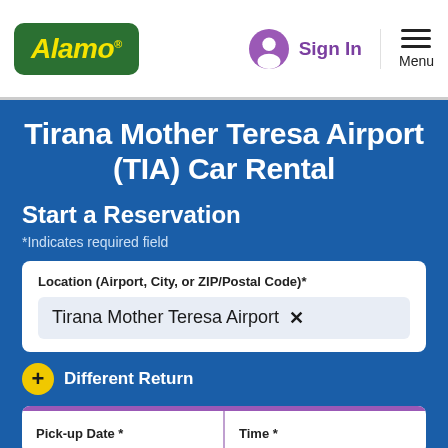[Figure (logo): Alamo car rental logo — yellow italic text on green rounded rectangle]
Sign In
Menu
Tirana Mother Teresa Airport (TIA) Car Rental
Start a Reservation
*Indicates required field
Location (Airport, City, or ZIP/Postal Code)*
Tirana Mother Teresa Airport ✕
+ Different Return
Pick-up Date *
Time *